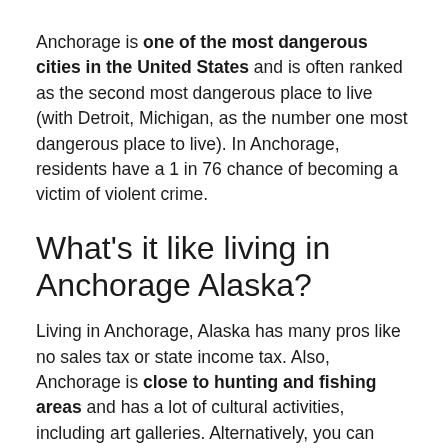Anchorage is one of the most dangerous cities in the United States and is often ranked as the second most dangerous place to live (with Detroit, Michigan, as the number one most dangerous place to live). In Anchorage, residents have a 1 in 76 chance of becoming a victim of violent crime.
What's it like living in Anchorage Alaska?
Living in Anchorage, Alaska has many pros like no sales tax or state income tax. Also, Anchorage is close to hunting and fishing areas and has a lot of cultural activities, including art galleries. Alternatively, you can expect harsh winter weather, plus a high